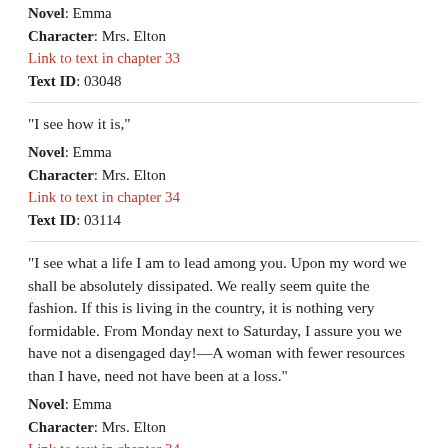Novel: Emma
Character: Mrs. Elton
Link to text in chapter 33
Text ID: 03048
"I see how it is,"
Novel: Emma
Character: Mrs. Elton
Link to text in chapter 34
Text ID: 03114
"I see what a life I am to lead among you. Upon my word we shall be absolutely dissipated. We really seem quite the fashion. If this is living in the country, it is nothing very formidable. From Monday next to Saturday, I assure you we have not a disengaged day!—A woman with fewer resources than I have, need not have been at a loss."
Novel: Emma
Character: Mrs. Elton
Link to text in chapter 34
Text ID: 03116